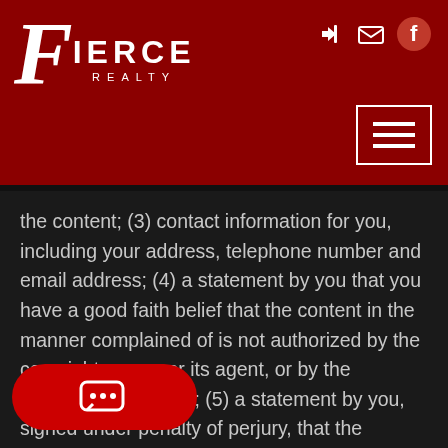Fierce Realty
the content; (3) contact information for you, including your address, telephone number and email address; (4) a statement by you that you have a good faith belief that the content in the manner complained of is not authorized by the copyright owner, or its agent, or by the operation of any law; (5) a statement by you, signed under penalty of perjury, that the information in the notification is accurate and that you have the authority to enforce the copyrights that are claimed to be infringed; and (6) a physical or electronic signature of the copyright owner or a person authorized to act on the copyright owners behalf. Failure to include all of the above information may result in the delay of the processing your complaint.